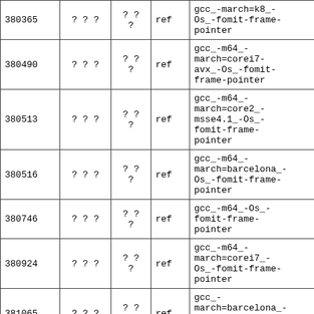| 380365 | ? ? ? | ? ?
? | ref | gcc_-march=k8_-Os_-fomit-frame-pointer | 20170 |
| 380490 | ? ? ? | ? ?
? | ref | gcc_-m64_-march=corei7-avx_-Os_-fomit-frame-pointer | 20170 |
| 380513 | ? ? ? | ? ?
? | ref | gcc_-m64_-march=core2_-msse4.1_-Os_-fomit-frame-pointer | 20170 |
| 380516 | ? ? ? | ? ?
? | ref | gcc_-m64_-march=barcelona_-Os_-fomit-frame-pointer | 20170 |
| 380746 | ? ? ? | ? ?
? | ref | gcc_-m64_-Os_-fomit-frame-pointer | 20170 |
| 380924 | ? ? ? | ? ?
? | ref | gcc_-m64_-march=corei7_-Os_-fomit-frame-pointer | 20170 |
| 381065 | ? ? ? | ? ?
? | ref | gcc_-march=barcelona_-Os_-fomit-frame-pointer | 20170 |